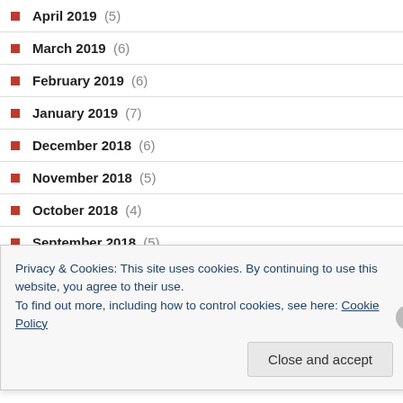April 2019 (5)
March 2019 (6)
February 2019 (6)
January 2019 (7)
December 2018 (6)
November 2018 (5)
October 2018 (4)
September 2018 (5)
August 2018 (7)
July 2018 (5)
June 2018 (7)
Privacy & Cookies: This site uses cookies. By continuing to use this website, you agree to their use. To find out more, including how to control cookies, see here: Cookie Policy